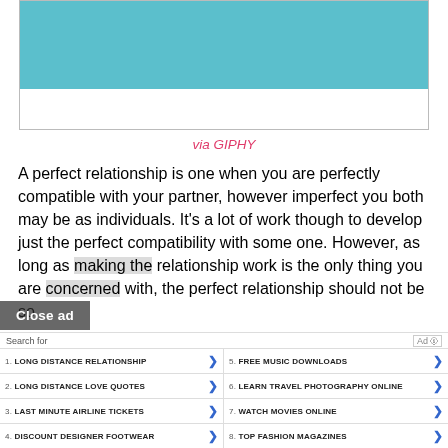[Figure (illustration): Teal/cyan colored GIF image placeholder with white area at bottom, bordered frame]
via GIPHY
A perfect relationship is one when you are perfectly compatible with your partner, however imperfect you both may be as individuals. It's a lot of work though to develop just the perfect compatibility with some one. However, as long as making the relationship work is the only thing you are concerned with, the perfect relationship should not be so
Close ad
Search for
1. LONG DISTANCE RELATIONSHIP
2. LONG DISTANCE LOVE QUOTES
3. LAST MINUTE AIRLINE TICKETS
4. DISCOUNT DESIGNER FOOTWEAR
5. FREE MUSIC DOWNLOADS
6. LEARN TRAVEL PHOTOGRAPHY ONLINE
7. WATCH MOVIES ONLINE
8. TOP FASHION MAGAZINES
Yahoo! Search | Sponsored